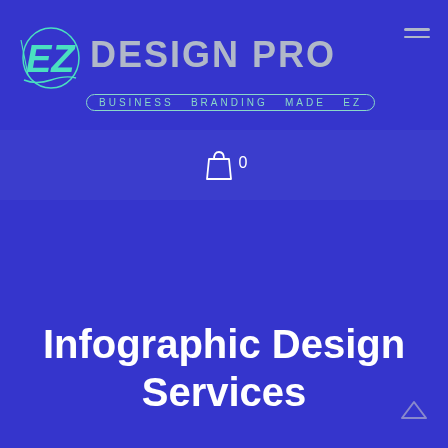[Figure (logo): EZ Design Pro logo with teal EZ monogram icon and metallic 'DESIGN PRO' text, subtitle 'BUSINESS BRANDING MADE EZ' in oval border]
[Figure (other): Shopping cart icon with badge showing 0]
Infographic Design Services